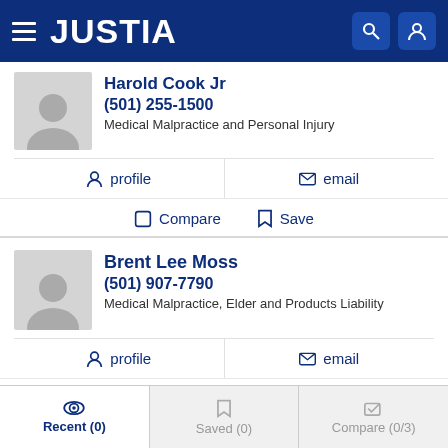JUSTIA
Harold Cook Jr
(501) 255-1500
Medical Malpractice and Personal Injury
profile   email
Compare   Save
Brent Lee Moss
(501) 907-7790
Medical Malpractice, Elder and Products Liability
profile   email
Compare   Save
Recent (0)   Saved (0)   Compare (0/3)